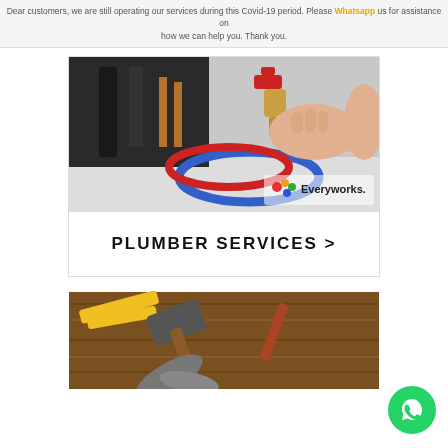Dear customers, we are still operating our services during this Covid-19 period. Please Whatsapp us for assistance on how we can help you. Thank you.
[Figure (photo): A plumber's hands adjusting a brass valve on pipes including red and blue hoses, with Everyworks logo watermark]
PLUMBER SERVICES >
[Figure (photo): Various tools including a hammer and pliers laid out on a wooden surface]